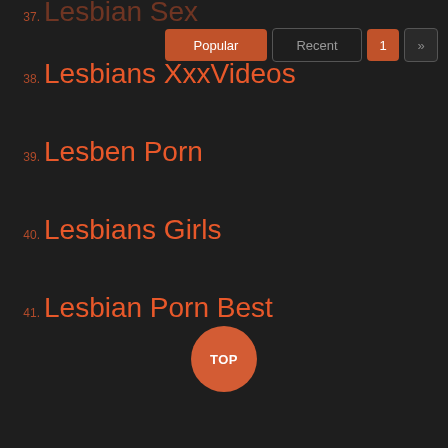37. Lesbian Sex
38. Lesbians XxxVideos
39. Lesben Porn
40. Lesbians Girls
41. Lesbian Porn Best
Popular | Recent | 1 | »
TOP